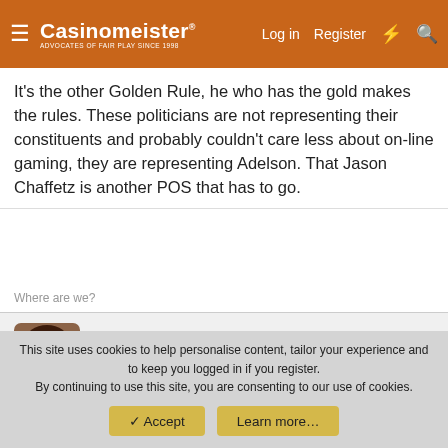Casinomeister | Log in | Register
It's the other Golden Rule, he who has the gold makes the rules. These politicians are not representing their constituents and probably couldn't care less about on-line gaming, they are representing Adelson. That Jason Chaffetz is another POS that has to go.
Where are we?
cpdnd31
Ueber Meister  Webmeister  CAG
Mar 27, 2014   #7
You know I read that if the white house receives enough signatures they have to look at the request. I say we sign up and
This site uses cookies to help personalise content, tailor your experience and to keep you logged in if you register.
By continuing to use this site, you are consenting to our use of cookies.
Accept   Learn more…